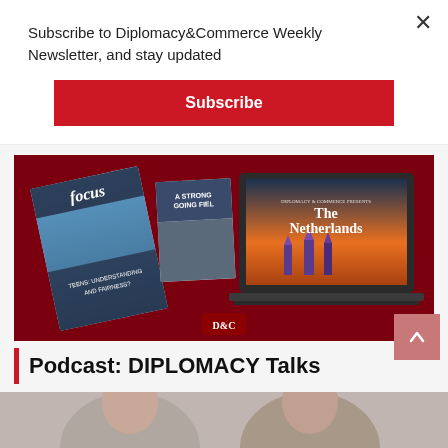Subscribe to Diplomacy&Commerce Weekly Newsletter, and stay updated
Subscribe
[Figure (photo): D&C magazine promotional banner showing magazine covers and a laptop displaying The Netherlands issue, on a dark red background with D&C logo]
Podcast: DIPLOMACY Talks
[Figure (photo): Two people shown from shoulders up, bottom of page, podcast guests/hosts]